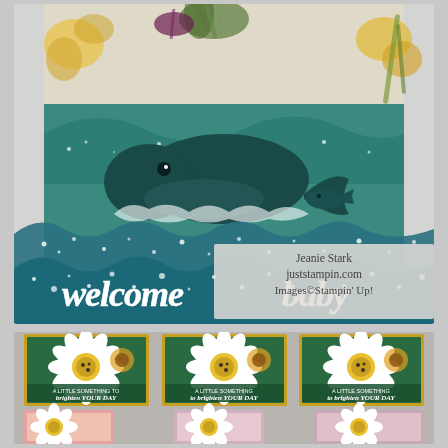[Figure (photo): A dimensional 'welcome baby' ocean-themed card with a whale, sea life, and wavy teal layers. White die-cut letters spelling 'welcome baby' on the front wave panel. Floral patterned paper visible in background.]
Jeanie Stark
juststampin.com
Images©Stampin' Up!
[Figure (photo): Three small yellow gift boxes with floral lids featuring daisies and sunflowers, each with a sentiment reading 'A little something to brighten your day'. Below them are three smaller pink floral boxes partially visible.]